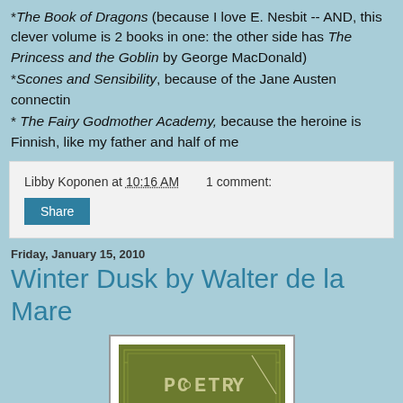*The Book of Dragons (because I love E. Nesbit -- AND, this clever volume is 2 books in one: the other side has The Princess and the Goblin by George MacDonald)
*Scones and Sensibility, because of the Jane Austen connectin
* The Fairy Godmother Academy, because the heroine is Finnish, like my father and half of me
Libby Koponen at 10:16 AM   1 comment:
Share
Friday, January 15, 2010
Winter Dusk by Walter de la Mare
[Figure (illustration): Poetry Friday logo — olive green background with decorative border and handwritten-style text reading POETRY FRIDAY]